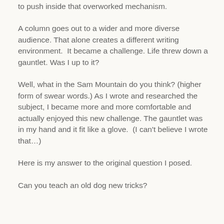to push inside that overworked mechanism.
A column goes out to a wider and more diverse audience. That alone creates a different writing environment.  It became a challenge. Life threw down a gauntlet. Was I up to it?
Well, what in the Sam Mountain do you think? (higher form of swear words.) As I wrote and researched the subject, I became more and more comfortable and actually enjoyed this new challenge. The gauntlet was in my hand and it fit like a glove.  (I can't believe I wrote that…)
Here is my answer to the original question I posed.
Can you teach an old dog new tricks?